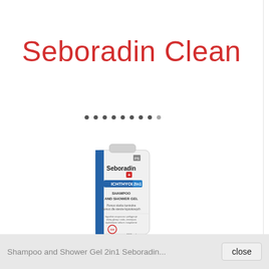Seboradin Clean
[Figure (other): Navigation dots indicator, 9 dots with some active]
[Figure (photo): Seboradin Ichthyol 2in1 Shampoo and Shower Gel product tube, white with blue and red accents, 200ml]
Shampoo and Shower Gel 2in1 Seboradin...
close